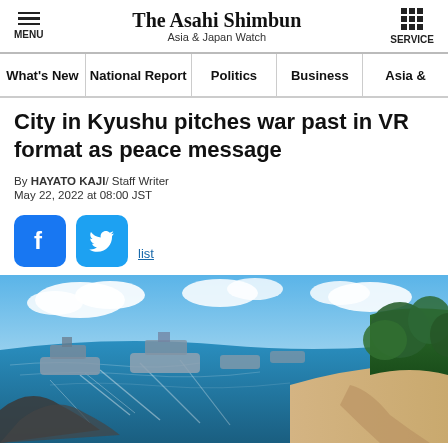The Asahi Shimbun Asia & Japan Watch
City in Kyushu pitches war past in VR format as peace message
By HAYATO KAJI/ Staff Writer
May 22, 2022 at 08:00 JST
[Figure (photo): Aerial panoramic view of a coastal scene with ships in blue waters, a sandy beach, and green forest, representing a VR recreation of a war-era location in Kyushu, Japan.]